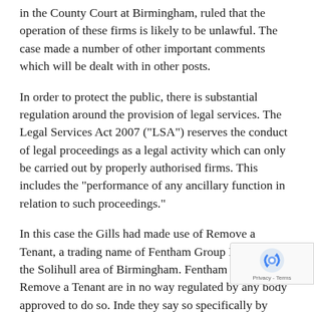in the County Court at Birmingham, ruled that the operation of these firms is likely to be unlawful. The case made a number of other important comments which will be dealt with in other posts.
In order to protect the public, there is substantial regulation around the provision of legal services. The Legal Services Act 2007 ("LSA") reserves the conduct of legal proceedings as a legal activity which can only be carried out by properly authorised firms. This includes the “performance of any ancillary function in relation to such proceedings.”
In this case the Gills had made use of Remove a Tenant, a trading name of Fentham Group Ltd, based in the Solihull area of Birmingham. Fentham Group and Remove a Tenant are in no way regulated by any body approved to do so. Inde they say so specifically by stating on their web and below that...
[Figure (other): reCAPTCHA badge with Privacy - Terms text]